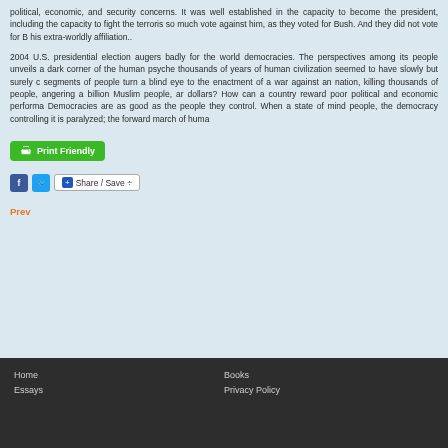political, economic, and security concerns. It was well established in the capacity to become the president, including the capacity to fight the terrorism so much vote against him, as they voted for Bush. And they did not vote for his extra-worldly affiliation..
2004 U.S. presidential election augers badly for the world democracies. The perspectives among its people unveils a dark corner of the human psyche thousands of years of human civilization seemed to have slowly but surely segments of people turn a blind eye to the enactment of a war against a nation, killing thousands of people, angering a billion Muslim people, an dollars? How can a country reward poor political and economic performa Democracies are as good as the people they control. When a state of mind people, the democracy controlling it is paralyzed; the forward march of huma
[Figure (screenshot): Print Friendly button (green)]
[Figure (screenshot): Facebook, Twitter, and Share/Save social buttons]
Prev
Home  Essays  |  Books  Privacy Policy